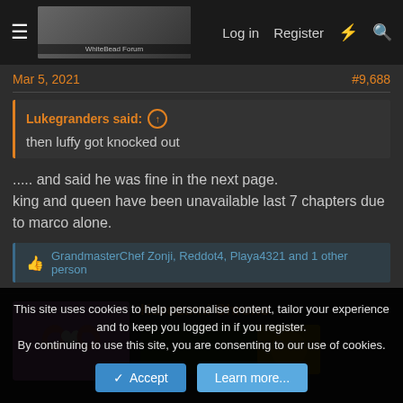Log in  Register
Mar 5, 2021   #9,688
Lukegranders said: ↑
then luffy got knocked out
..... and said he was fine in the next page.
king and queen have been unavailable last 7 chapters due to marco alone.
GrandmasterChef Zonji, Reddot4, Playa4321 and 1 other person
Kurozumi Chrono
This site uses cookies to help personalise content, tailor your experience and to keep you logged in if you register.
By continuing to use this site, you are consenting to our use of cookies.
Accept  Learn more...